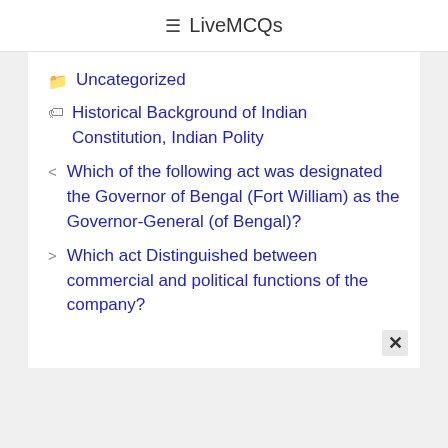≡ LiveMCQs
📁 Uncategorized
🏷 Historical Background of Indian Constitution, Indian Polity
< Which of the following act was designated the Governor of Bengal (Fort William) as the Governor-General (of Bengal)?
> Which act Distinguished between commercial and political functions of the company?